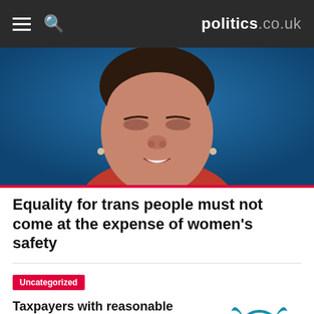politics.co.uk
[Figure (photo): Close-up photo of a woman's face against a blue background, cropped at forehead, speaking or posing at a public event.]
Equality for trans people must not come at the expense of women's safety
Uncategorized
Taxpayers with reasonable excuse can dispute their late filing penalty
[Figure (logo): Chartered Institute of Taxation (CIOT) logo — owl/shield icon in teal/blue with text 'Chartered Institute of Taxation' and tagline 'Excellence in Taxation']